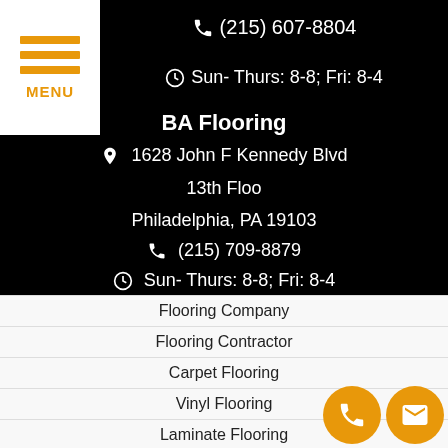(215) 607-8804
Sun- Thurs: 8-8; Fri: 8-4
BA Flooring
1628 John F Kennedy Blvd
13th Floo
Philadelphia, PA 19103
(215) 709-8879
Sun- Thurs: 8-8; Fri: 8-4
Flooring Company
Flooring Contractor
Carpet Flooring
Vinyl Flooring
Laminate Flooring